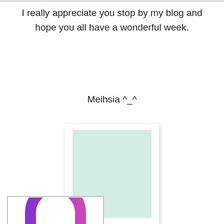I really appreciate you stop by my blog and hope you all have a wonderful week.
Meihsia ^_^
[Figure (photo): A pale mint/green colored rectangular image inside a white photo frame with slight drop shadow]
[Figure (logo): Partial view of a purple/pink gradient arch logo inside a white framed box, cropped at bottom of page]